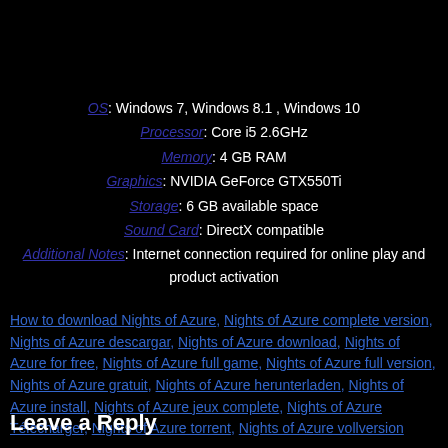OS: Windows 7, Windows 8.1 , Windows 10
Processor: Core i5 2.6GHz
Memory: 4 GB RAM
Graphics: NVIDIA GeForce GTX550Ti
Storage: 6 GB available space
Sound Card: DirectX compatible
Additional Notes: Internet connection required for online play and product activation
How to download Nights of Azure, Nights of Azure complete version, Nights of Azure descargar, Nights of Azure download, Nights of Azure for free, Nights of Azure full game, Nights of Azure full version, Nights of Azure gratuit, Nights of Azure herunterladen, Nights of Azure install, Nights of Azure jeux complete, Nights of Azure Télécharger, Nights of Azure torrent, Nights of Azure vollversion
Leave a Reply